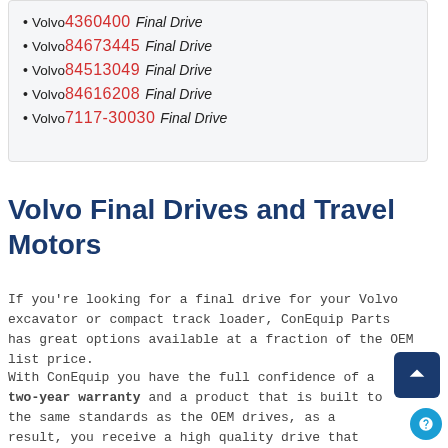Volvo 4360400 Final Drive
Volvo 84673445 Final Drive
Volvo 84513049 Final Drive
Volvo 84616208 Final Drive
Volvo 7117-30030 Final Drive
Volvo Final Drives and Travel Motors
If you're looking for a final drive for your Volvo excavator or compact track loader, ConEquip Parts has great options available at a fraction of the OEM list price.
With ConEquip you have the full confidence of a two-year warranty and a product that is built to the same standards as the OEM drives, as a result, you receive a high quality drive that keeps your machine tracking straight for better performance.